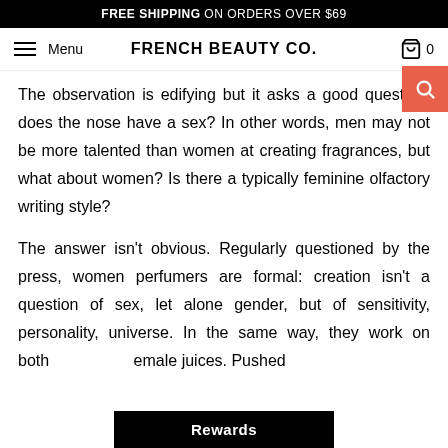FREE SHIPPING ON ORDERS OVER $69
Menu | FRENCH BEAUTY CO. | 0
The observation is edifying but it asks a good question: does the nose have a sex? In other words, men may not be more talented than women at creating fragrances, but what about women? Is there a typically feminine olfactory writing style?
The answer isn't obvious. Regularly questioned by the press, women perfumers are formal: creation isn't a question of sex, let alone gender, but of sensitivity, personality, universe. In the same way, they work on both male and female juices. Pushed